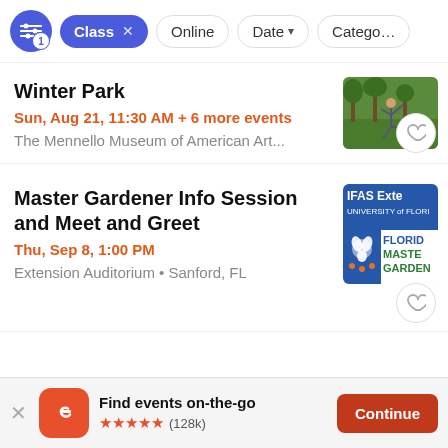Filter bar: Class x | Online | Date ▾ | Category
Winter Park
Sun, Aug 21, 11:30 AM + 6 more events
The Mennello Museum of American Art...
[Figure (photo): Person doing yoga outdoors in a park with trees]
Master Gardener Info Session and Meet and Greet
Thu, Sep 8, 1:00 PM
Extension Auditorium • Sanford, FL
[Figure (logo): IFAS Extension University of Florida / Florida Master Gardener logo]
Find events on-the-go
★★★★★ (128k)
Continue